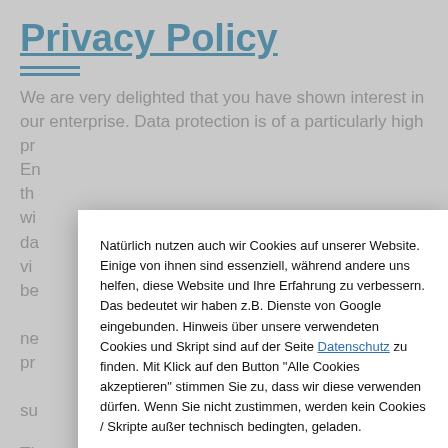Privacy Policy
We are very delighted that you have shown interest in our enterprise. Data protection is of a particularly high priority for the management of the Enterprise. The use of the Internet pages of the Enterprise is possible without any indication of personal data; however, if a data subject wants to use special enterprise services via our website, processing of personal data could become necessary. If the processing of personal data is necessary and there is no statutory basis for such processing, we generally obtain consent from the data subject. The processing of personal data, such as the name, address, e-mail address, or telephone number of a data subject shall always be in line with the General Data Protection Regulation (GDPR), and in accordance with the country-specific data protection regulations applicable to the Jordan Optical Engineering GmbH. By
Natürlich nutzen auch wir Cookies auf unserer Website. Einige von ihnen sind essenziell, während andere uns helfen, diese Website und Ihre Erfahrung zu verbessern. Das bedeutet wir haben z.B. Dienste von Google eingebunden. Hinweis über unsere verwendeten Cookies und Skript sind auf der Seite Datenschutz zu finden. Mit Klick auf den Button "Alle Cookies akzeptieren" stimmen Sie zu, dass wir diese verwenden dürfen. Wenn Sie nicht zustimmen, werden kein Cookies / Skripte außer technisch bedingten, geladen.